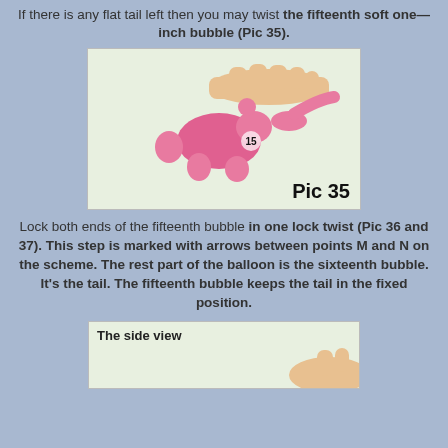If there is any flat tail left then you may twist the fifteenth soft one—inch bubble (Pic 35).
[Figure (photo): A hand holding a pink balloon animal sculpture with numbered bubble 15 visible, shown from above against a light green background. Caption reads 'Pic 35'.]
Lock both ends of the fifteenth bubble in one lock twist (Pic 36 and 37). This step is marked with arrows between points M and N on the scheme. The rest part of the balloon is the sixteenth bubble. It's the tail. The fifteenth bubble keeps the tail in the fixed position.
[Figure (photo): A photo showing the side view of a balloon animal being held, with label 'The side view' in the upper left corner.]